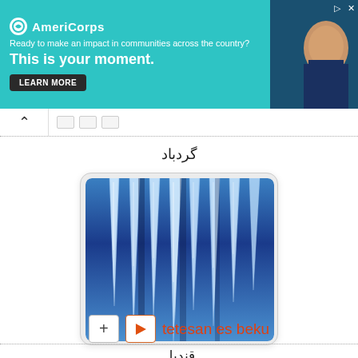[Figure (screenshot): AmeriCorps advertisement banner with teal background. Logo and text: 'Ready to make an impact in communities across the country? This is your moment.' with LEARN MORE button. Right side shows a person photo.]
گردباد
[Figure (photo): Photo of icicles hanging down against a blue background]
+ ▶ tetesan es beku
قنديل